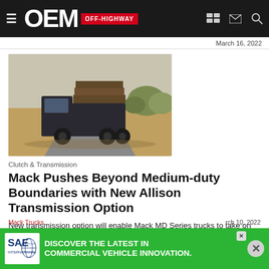OEM OFF-HIGHWAY
March 16, 2022
[Figure (photo): Mack MD Series truck driving on a rural road, loaded with cargo, autumn trees in background]
Clutch & Transmission
Mack Pushes Beyond Medium-duty Boundaries with New Allison Transmission Option
New transmission option will enable Mack MD Series trucks to take on heavier-duty applications that require increased power and vehicle weight.
Mack Trucks
March 10, 2022
[Figure (infographic): SAE International advertisement banner: DISCOVER THE LATEST IN COMMERCIAL VEHICLE INNOVATION.]